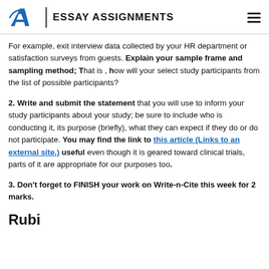EA | ESSAY ASSIGNMENTS
For example, exit interview data collected by your HR department or satisfaction surveys from guests. Explain your sample frame and sampling method; That is , how will your select study participants from the list of possible participants?
2. Write and submit the statement that you will use to inform your study participants about your study; be sure to include who is conducting it, its purpose (briefly), what they can expect if they do or do not participate. You may find the link to this article (Links to an external site.) useful even though it is geared toward clinical trials, parts of it are appropriate for our purposes too.
3. Don't forget to FINISH your work on Write-n-Cite this week for 2 marks.
Rubi